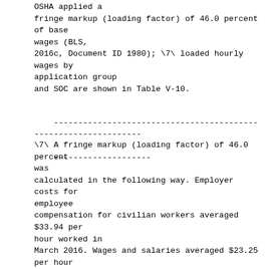OSHA applied a fringe markup (loading factor) of 46.0 percent of base wages (BLS, 2016c, Document ID 1980); \7\ loaded hourly wages by application group and SOC are shown in Table V-10.
------------------------------------------------------------------------
\7\ A fringe markup (loading factor) of 46.0 percent was calculated in the following way. Employer costs for employee compensation for civilian workers averaged $33.94 per hour worked in March 2016. Wages and salaries averaged $23.25 per hour worked and accounted for 68.5 percent of these costs, while benefits averaged $10.70 and accounted for the remaining 31.5 percent. Therefore, the fringe markup (loading factor) is $10.70/$23.25, or